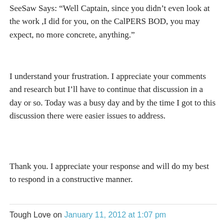SeeSaw Says: “Well Captain, since you didn’t even look at the work ,I did for you, on the CalPERS BOD, you may expect, no more concrete, anything.”
I understand your frustration. I appreciate your comments and research but I’ll have to continue that discussion in a day or so. Today was a busy day and by the time I got to this discussion there were easier issues to address.
Thank you. I appreciate your response and will do my best to respond in a constructive manner.
Tough Love on January 11, 2012 at 1:07 pm